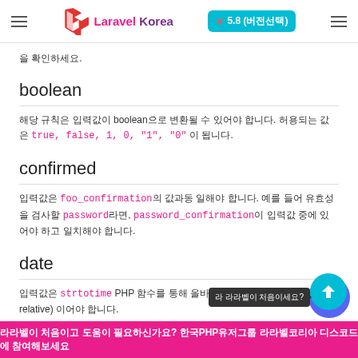Laravel Korea  × 5.8 (버전선택)
을 확인하세요.
boolean
해당 규칙은 입력값이 boolean으로 변환될 수 있어야 합니다. 허용되는 값은 true, false, 1, 0, "1", "0" 이 됩니다.
confirmed
입력값은 foo_confirmation의 값과동 일해야 합니다. 예를 들어 유효성을 검사할 password라면, password_confirmation이 입력값 중에 있어야 하고 일치해야 합니다.
date
입력값은 strtotime PHP 함수를 통해 올바른 날짜 형식 또는 상관(non-relative) 이어야 합니다.
라라벨이 처음이고 도움이 필요하신가요? 한국PHP유저그룹 라라벨코리아 디스코드에 참여해보세요